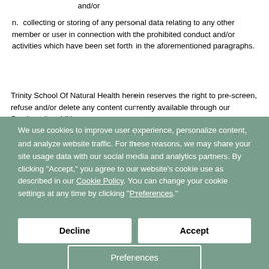and/or
n. collecting or storing of any personal data relating to any other member or user in connection with the prohibited conduct and/or activities which have been set forth in the aforementioned paragraphs.
Trinity School Of Natural Health herein reserves the right to pre-screen, refuse and/or delete any content currently available through our Services. In addition
We use cookies to improve user experience, personalize content, and analyze website traffic. For these reasons, we may share your site usage data with our social media and analytics partners. By clicking "Accept," you agree to our website's cookie use as described in our Cookie Policy. You can change your cookie settings at any time by clicking "Preferences."